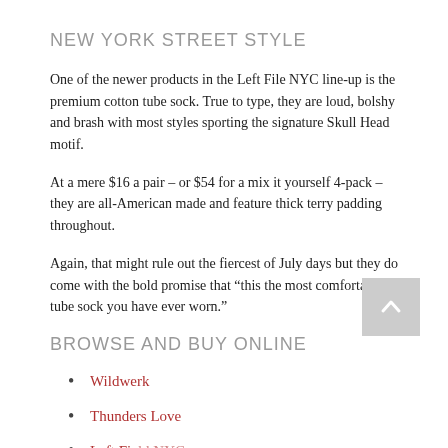NEW YORK STREET STYLE
One of the newer products in the Left File NYC line-up is the premium cotton tube sock. True to type, they are loud, bolshy and brash with most styles sporting the signature Skull Head motif.
At a mere $16 a pair – or $54 for a mix it yourself 4-pack – they are all-American made and feature thick terry padding throughout.
Again, that might rule out the fiercest of July days but they do come with the bold promise that “this the most comfortable tube sock you have ever worn.”
BROWSE AND BUY ONLINE
Wildwerk
Thunders Love
Left Field NYC